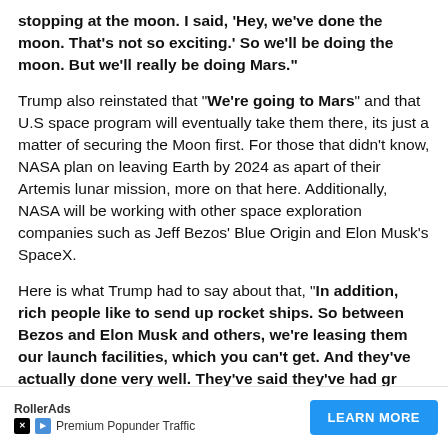stopping at the moon. I said, 'Hey, we've done the moon. That's not so exciting.' So we'll be doing the moon. But we'll really be doing Mars."
Trump also reinstated that "We're going to Mars" and that U.S space program will eventually take them there, its just a matter of securing the Moon first. For those that didn't know, NASA plan on leaving Earth by 2024 as apart of their Artemis lunar mission, more on that here. Additionally, NASA will be working with other space exploration companies such as Jeff Bezos' Blue Origin and Elon Musk's SpaceX.
Here is what Trump had to say about that, "In addition, rich people like to send up rocket ships. So between Bezos and Elon Musk and others, we're leasing them our launch facilities, which you can't get. And they've actually done very well. They've said they've had gr...
[Figure (other): Advertisement banner for RollerAds Premium Popunder Traffic with a LEARN MORE button]